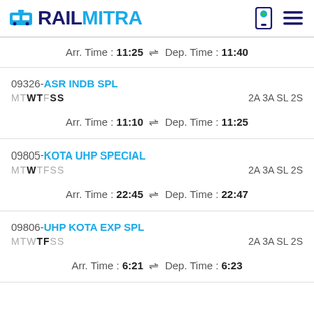RAILMITRA
Arr. Time : 11:25 ⇌ Dep. Time : 11:40
09326-ASR INDB SPL MTWTFSS 2A 3A SL 2S
Arr. Time : 11:10 ⇌ Dep. Time : 11:25
09805-KOTA UHP SPECIAL MTWTFSS 2A 3A SL 2S
Arr. Time : 22:45 ⇌ Dep. Time : 22:47
09806-UHP KOTA EXP SPL MTWTFSS 2A 3A SL 2S
Arr. Time : 6:21 ⇌ Dep. Time : 6:23